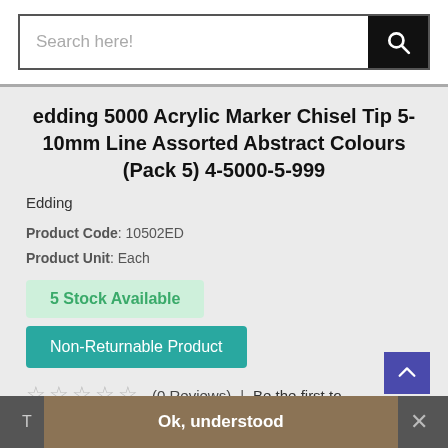[Figure (screenshot): Search bar with magnifying glass icon on black background]
edding 5000 Acrylic Marker Chisel Tip 5-10mm Line Assorted Abstract Colours (Pack 5) 4-5000-5-999
Edding
Product Code: 10502ED
Product Unit: Each
5 Stock Available
Non-Returnable Product
☆☆☆☆☆ (0 Reviews) | Be the first to write a Review